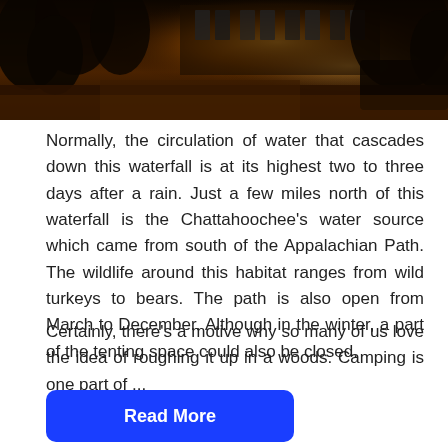[Figure (photo): Nighttime outdoor photo showing illuminated trees, a building with large windows in the background, warm orange lighting, and what appears to be a vehicle or structure on the right side. Dark silhouettes of tropical/lush vegetation in the foreground.]
Normally, the circulation of water that cascades down this waterfall is at its highest two to three days after a rain. Just a few miles north of this waterfall is the Chattahoochee's water source which came from south of the Appalachian Path. The wildlife around this habitat ranges from wild turkeys to bears. The path is also open from March to December. Although in the winter, a part of the tenting space could also be closed.
Certainly, there's a motive why so many of us love the idea of roughing it up in a woods. Camping is one part of ...
Read More